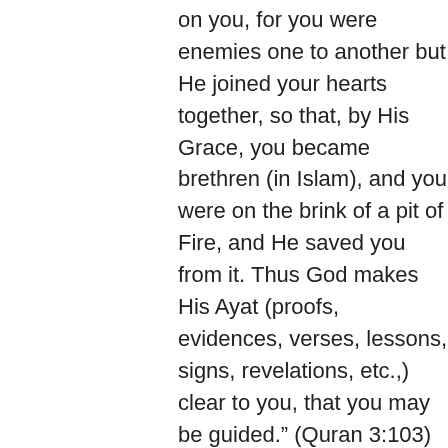on you, for you were enemies one to another but He joined your hearts together, so that, by His Grace, you became brethren (in Islam), and you were on the brink of a pit of Fire, and He saved you from it. Thus God makes His Ayat (proofs, evidences, verses, lessons, signs, revelations, etc.,) clear to you, that you may be guided." (Quran 3:103)
Hajj is the largest annual gathering of Muslims; it is the largest gathering of people united by the peacefulness and serenity that is Islam. Anything that disturbs the peacefulness of Hajj is prohibited. No matter what is happening in the material